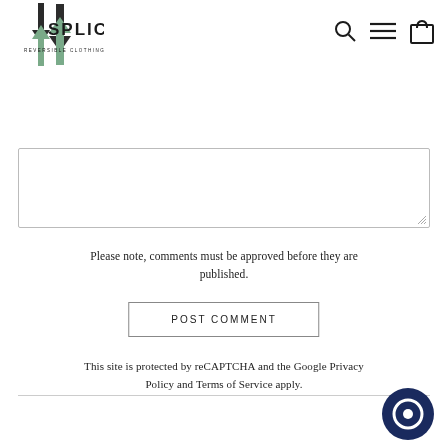[Figure (logo): SPLICE Reversible Clothing logo with two arrows (up dark, down green) and text 'REVERSIBLE CLOTHING']
[Figure (other): Navigation icons: search magnifying glass, hamburger menu, shopping bag]
[Figure (other): Comment text area input box with resize handle]
Please note, comments must be approved before they are published.
POST COMMENT
This site is protected by reCAPTCHA and the Google Privacy Policy and Terms of Service apply.
[Figure (other): Dark navy blue chat/messenger circle button icon in bottom right corner]